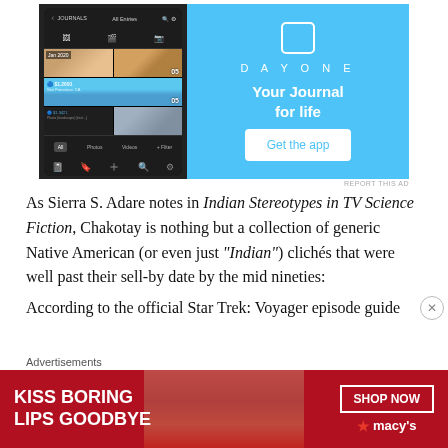[Figure (screenshot): Day One app advertisement showing phone screenshot on left with photo grid and 'DAYONE Your Journal for life' with 'Get the app' button on blue background on right]
REPORT THIS AD
As Sierra S. Adare notes in Indian Stereotypes in TV Science Fiction, Chakotay is nothing but a collection of generic Native American (or even just “Indian”) clichés that were well past their sell-by date by the mid nineties:
According to the official Star Trek: Voyager episode guide
Advertisements
[Figure (photo): Macy's advertisement: 'KISS BORING LIPS GOODBYE' with woman's face showing red lips, SHOP NOW button and Macy's star logo]